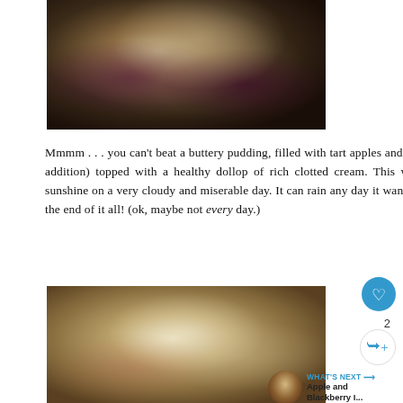[Figure (photo): Close-up photo of apple and blackberry pudding with crumble topping, dark berries visible]
Mmmm . . . you can't beat a buttery pudding, filled with tart apples and sweet blackberries (my addition) topped with a healthy dollop of rich clotted cream. This was like a little ray of sunshine on a very cloudy and miserable day. It can rain any day it wants to if this is waiting at the end of it all! (ok, maybe not every day.)
[Figure (photo): Close-up photo of apple and blackberry pudding with cream on top, blurred background]